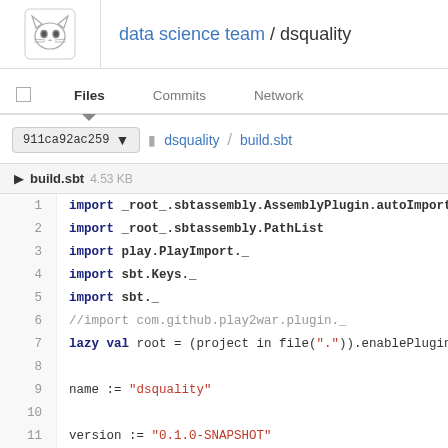data science team / dsquality
Files   Commits   Network
911ca92ac259 ▾ dsquality / build.sbt
build.sbt 4.53 KB
[Figure (screenshot): Code viewer showing build.sbt file content with line numbers 1-15, displaying Scala SBT build configuration with import statements, lazy val root definition, name and version settings, and commented lines.]